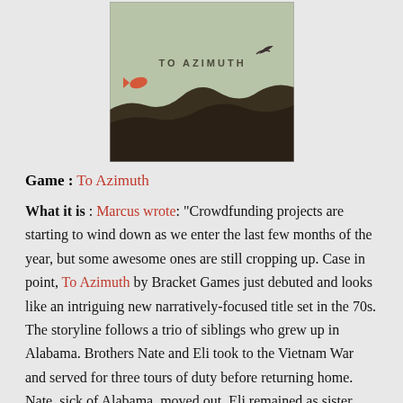[Figure (illustration): Book/game cover for 'To Azimuth' showing a muted green sky background with dark rolling hills silhouette at the bottom, a small orange fish-like shape on the left and a bird/fish shape on the upper right, with the text 'TO AZIMUTH' in the center.]
Game : To Azimuth
What it is : Marcus wrote: “Crowdfunding projects are starting to wind down as we enter the last few months of the year, but some awesome ones are still cropping up. Case in point, To Azimuth by Bracket Games just debuted and looks like an intriguing new narratively-focused title set in the 70s. The storyline follows a trio of siblings who grew up in Alabama. Brothers Nate and Eli took to the Vietnam War and served for three tours of duty before returning home. Nate, sick of Alabama, moved out. Eli remained as sister Susannah attempted to help reorient Eli into a normal, healthy life after returning home. As far as